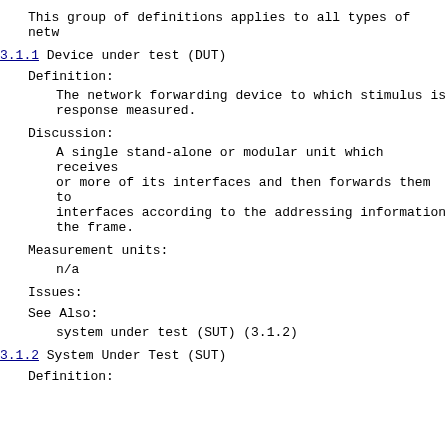This group of definitions applies to all types of netw
3.1.1 Device under test (DUT)
Definition:
The network forwarding device to which stimulus is response measured.
Discussion:
A single stand-alone or modular unit which receives or more of its interfaces and then forwards them to interfaces according to the addressing information the frame.
Measurement units:
n/a
Issues:
See Also:
system under test (SUT) (3.1.2)
3.1.2 System Under Test (SUT)
Definition: